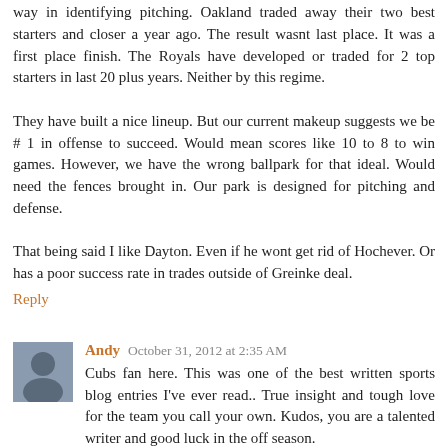way in identifying pitching. Oakland traded away their two best starters and closer a year ago. The result wasnt last place. It was a first place finish. The Royals have developed or traded for 2 top starters in last 20 plus years. Neither by this regime.
They have built a nice lineup. But our current makeup suggests we be # 1 in offense to succeed. Would mean scores like 10 to 8 to win games. However, we have the wrong ballpark for that ideal. Would need the fences brought in. Our park is designed for pitching and defense.
That being said I like Dayton. Even if he wont get rid of Hochever. Or has a poor success rate in trades outside of Greinke deal.
Reply
Andy  October 31, 2012 at 2:35 AM
Cubs fan here. This was one of the best written sports blog entries I've ever read.. True insight and tough love for the team you call your own. Kudos, you are a talented writer and good luck in the off season.
Reply